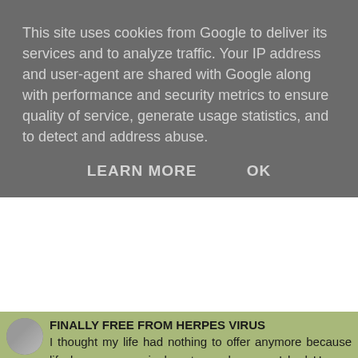This site uses cookies from Google to deliver its services and to analyze traffic. Your IP address and user-agent are shared with Google along with performance and security metrics to ensure quality of service, generate usage statistics, and to detect and address abuse.
LEARN MORE    OK
FINALLY FREE FROM HERPES VIRUS
I thought my life had nothing to offer anymore because life became meaningless to me because I had Herpes virus, the symptoms became very severe and bold and made my family run from and abandoned me so they won't get infected. I gave up everything, my hope, dreams,vision and job because the doctor told me there's no cure. I consumed so many drugs but they never cured me but hid the symptoms inside me making it worse. I was doing some research online someday when